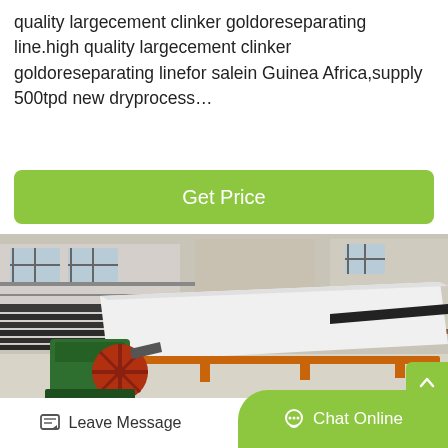quality largecement clinker goldoreseparating line.high quality largecement clinker goldoreseparating linefor salein Guinea Africa,supply 500tpd new dryprocess…
Get Price
[Figure (photo): Industrial gold ore separating / shaking table machine with a large flat white surface and a green and red flywheel motor, positioned in an outdoor industrial yard with stacked dark materials and buildings in the background.]
Leave Message
Chat Online